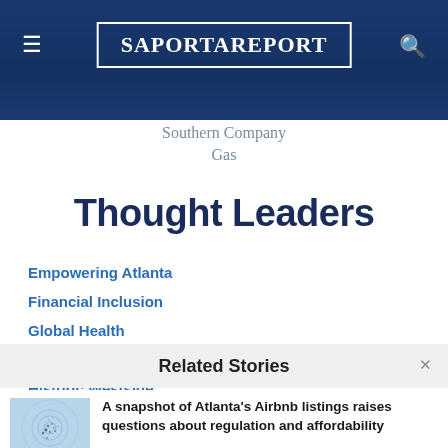[Figure (screenshot): SaportaReport website header banner with city skyline background in dark blue, hamburger menu icon on left, search icon on right, and logo in white bordered box in center]
Southern Company Gas
Thought Leaders
Empowering Atlanta
Financial Inclusion
Global Health
Higher Education
Historic Westside
Related Stories
A snapshot of Atlanta's Airbnb listings raises questions about regulation and affordability